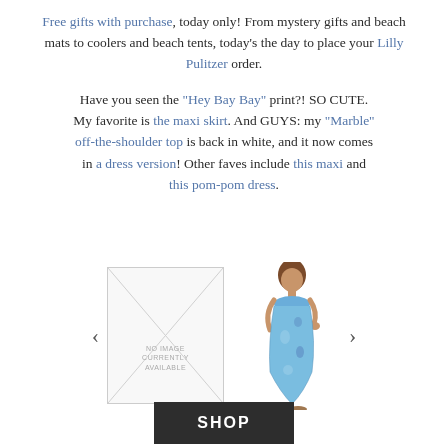Free gifts with purchase, today only! From mystery gifts and beach mats to coolers and beach tents, today's the day to place your Lilly Pulitzer order.
Have you seen the “Hey Bay Bay” print?! SO CUTE. My favorite is the maxi skirt. And GUYS: my “Marble” off-the-shoulder top is back in white, and it now comes in a dress version! Other faves include this maxi and this pom-pom dress.
[Figure (photo): Carousel with a 'No Image Currently Available' placeholder box on the left and a model wearing a blue maxi dress on the right, with left and right navigation arrows.]
SHOP